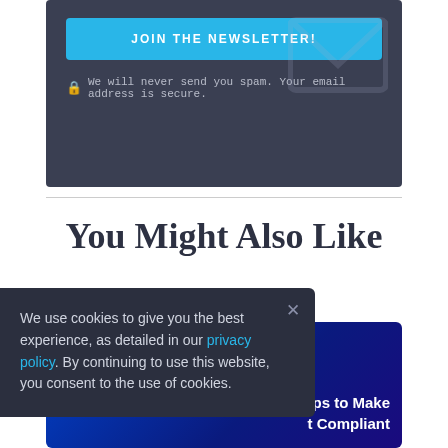[Figure (screenshot): Newsletter signup banner with blue button labeled 'JOIN THE NEWSLETTER!' on a dark slate background, with a padlock icon and text 'We will never send you spam. Your email address is secure.' and a faint envelope watermark]
We will never send you spam. Your email address is secure.
You Might Also Like
[Figure (screenshot): Article card with dark blue gradient background, partial text 'lps to Make t Compliant' visible on the right side]
We use cookies to give you the best experience, as detailed in our privacy policy. By continuing to use this website, you consent to the use of cookies.